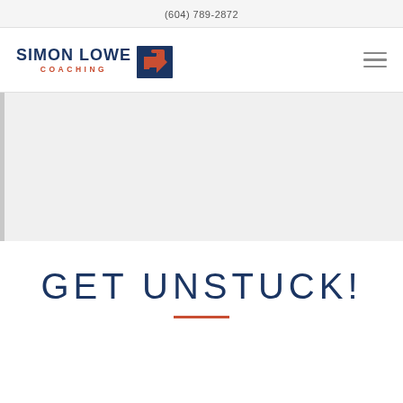(604) 789-2872
[Figure (logo): Simon Lowe Coaching logo with dark blue text 'SIMON LOWE' above 'COACHING' in orange/red, next to a dark square icon with an orange upward-right arrow]
[Figure (other): Hamburger menu icon (three horizontal lines) in grey]
[Figure (other): Light grey hero/banner area with left border]
GET UNSTUCK!